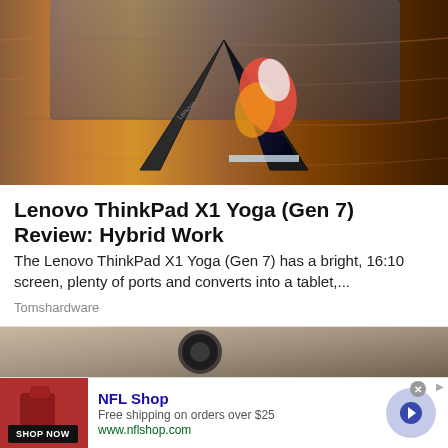[Figure (photo): Lenovo ThinkPad X1 Yoga Gen 7 laptop in tent mode on a wooden table, screen showing abstract 3D artwork]
Lenovo ThinkPad X1 Yoga (Gen 7) Review: Hybrid Work
The Lenovo ThinkPad X1 Yoga (Gen 7) has a bright, 16:10 screen, plenty of ports and converts into a tablet,...
Tomshardware
[Figure (photo): Partial image of a second article, appears to show a headset or device]
[Figure (other): NFL Shop advertisement banner with red product image, free shipping offer, shop now button, and arrow navigation button]